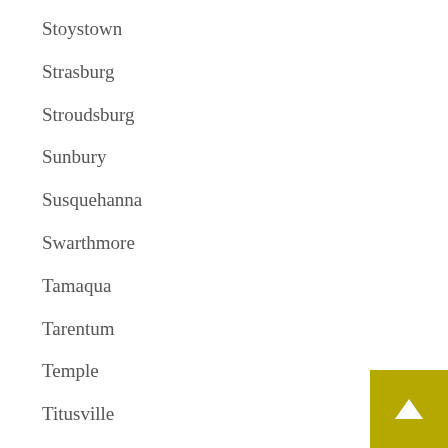Stoystown
Strasburg
Stroudsburg
Sunbury
Susquehanna
Swarthmore
Tamaqua
Tarentum
Temple
Titusville
Topton